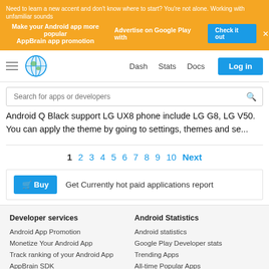[Figure (screenshot): Ad banner with AppBrain app promotion on yellow/gold background with Check it out button]
[Figure (screenshot): Navigation bar with hamburger menu, AppBrain globe logo, Dash, Stats, Docs links and Log in button]
Search for apps or developers
Android Q Black support LG UX8 phone include LG G8, LG V50. You can apply the theme by going to settings, themes and se...
1 2 3 4 5 6 7 8 9 10 Next
Buy Get Currently hot paid applications report
Developer services
Android Statistics
Android App Promotion
Monetize Your Android App
Track ranking of your Android App
AppBrain SDK
Apptimizer
Android statistics
Google Play Developer stats
Trending Apps
All-time Popular Apps